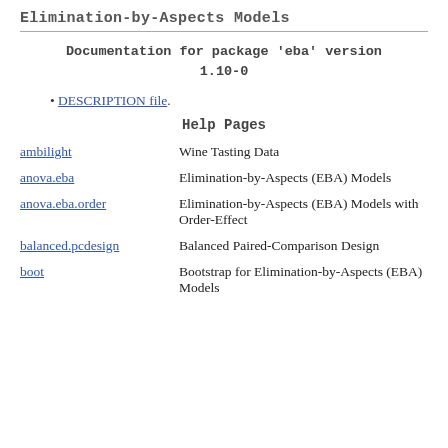Elimination-by-Aspects Models
Documentation for package 'eba' version 1.10-0
DESCRIPTION file.
Help Pages
|  |  |
| --- | --- |
| ambilight | Wine Tasting Data |
| anova.eba | Elimination-by-Aspects (EBA) Models |
| anova.eba.order | Elimination-by-Aspects (EBA) Models with Order-Effect |
| balanced.pcdesign | Balanced Paired-Comparison Design |
| boot | Bootstrap for Elimination-by-Aspects (EBA) Models |